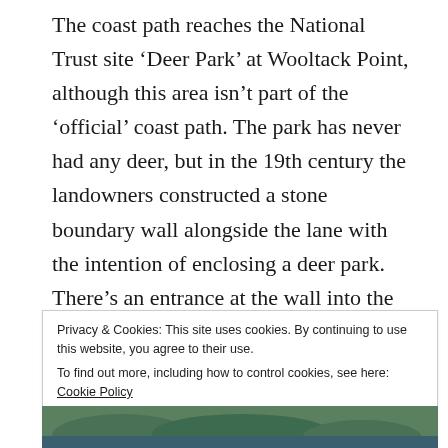The coast path reaches the National Trust site ‘Deer Park’ at Wooltack Point, although this area isn’t part of the ‘official’ coast path. The park has never had any deer, but in the 19th century the landowners constructed a stone boundary wall alongside the lane with the intention of enclosing a deer park. There’s an entrance at the wall into the park and we followed the tracks around to Wooltack Point with wonderful views of the coastal islands to the west and St. Brides Bay to the north.
Privacy & Cookies: This site uses cookies. By continuing to use this website, you agree to their use.
To find out more, including how to control cookies, see here: Cookie Policy
Close and accept
[Figure (photo): Partial view of a coastal island photograph at the bottom of the page]